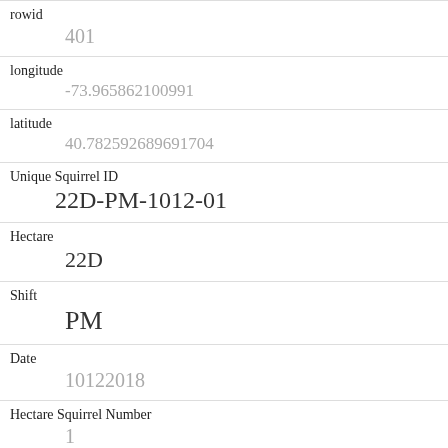| Field | Value |
| --- | --- |
| rowid | 401 |
| longitude | -73.965862100991 |
| latitude | 40.782592689691704 |
| Unique Squirrel ID | 22D-PM-1012-01 |
| Hectare | 22D |
| Shift | PM |
| Date | 10122018 |
| Hectare Squirrel Number | 1 |
| Age | Adult |
| Primary Fur Color | Gray |